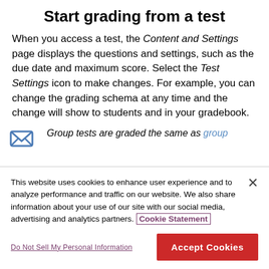Start grading from a test
When you access a test, the Content and Settings page displays the questions and settings, such as the due date and maximum score. Select the Test Settings icon to make changes. For example, you can change the grading schema at any time and the change will show to students and in your gradebook.
Group tests are graded the same as group
This website uses cookies to enhance user experience and to analyze performance and traffic on our website. We also share information about your use of our site with our social media, advertising and analytics partners. Cookie Statement
Do Not Sell My Personal Information
Accept Cookies